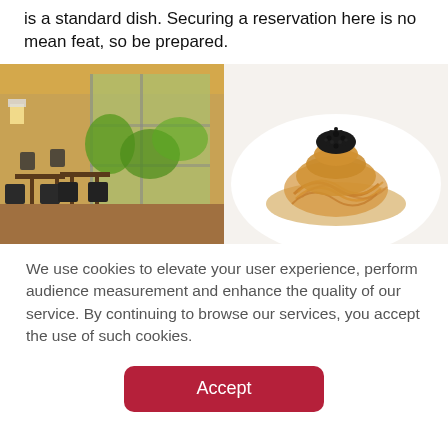is a standard dish. Securing a reservation here is no mean feat, so be prepared.
[Figure (photo): Left: restaurant interior with warm lighting, tables and chairs, large windows with greenery outside. Right: elegant pasta dish with caviar on a white plate.]
We use cookies to elevate your user experience, perform audience measurement and enhance the quality of our service. By continuing to browse our services, you accept the use of such cookies.
Accept